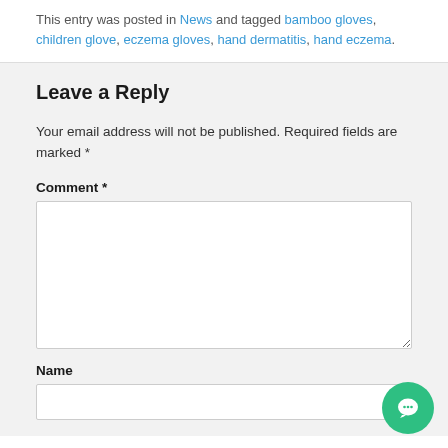This entry was posted in News and tagged bamboo gloves, children glove, eczema gloves, hand dermatitis, hand eczema.
Leave a Reply
Your email address will not be published. Required fields are marked *
Comment *
Name